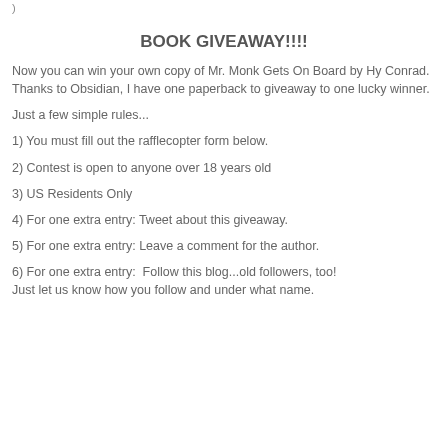)
BOOK GIVEAWAY!!!!
Now you can win your own copy of Mr. Monk Gets On Board by Hy Conrad. Thanks to Obsidian, I have one paperback to giveaway to one lucky winner.
Just a few simple rules...
1) You must fill out the rafflecopter form below.
2) Contest is open to anyone over 18 years old
3) US Residents Only
4) For one extra entry: Tweet about this giveaway.
5) For one extra entry: Leave a comment for the author.
6) For one extra entry:  Follow this blog...old followers, too! Just let us know how you follow and under what name.